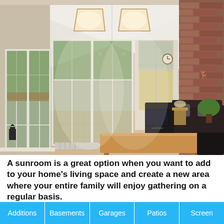[Figure (photo): Interior of a bright sunroom extension with vaulted white ceiling featuring two large skylights, white-framed French doors opening to a garden, exposed brick accent wall on the right, leather sofa and armchairs, a wooden coffee table, and beige tile flooring.]
A sunroom is a great option when you want to add to your home's living space and create a new area where your entire family will enjoy gathering on a regular basis.
Additions
Basements
Garages
Patios
Screen